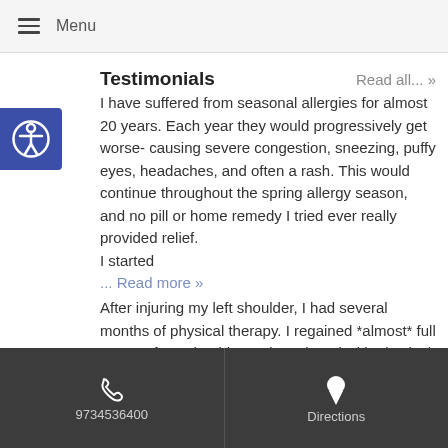Menu
Testimonials
Read all... »
I have suffered from seasonal allergies for almost 20 years. Each year they would progressively get worse- causing severe congestion, sneezing, puffy eyes, headaches, and often a rash. This would continue throughout the spring allergy season, and no pill or home remedy I tried ever really provided relief.
I started
... Read more »
After injuring my left shoulder, I had several months of physical therapy. I regained *almost* full usage of my shoulder and continued with physical therapy exercises on my own, but had to stop. Then the shoulder pain got much worse. I saw an orthopedic surgeon and was diagnosed with a
9734536400   Directions